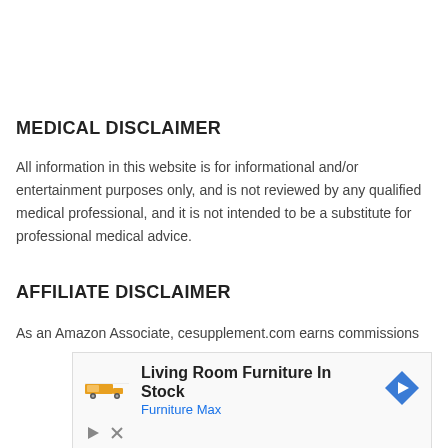MEDICAL DISCLAIMER
All information in this website is for informational and/or entertainment purposes only, and is not reviewed by any qualified medical professional, and it is not intended to be a substitute for professional medical advice.
AFFILIATE DISCLAIMER
As an Amazon Associate, cesupplement.com earns commissions
[Figure (other): Advertisement banner: Living Room Furniture In Stock — Furniture Max, with logo, arrow icon, play and close buttons]